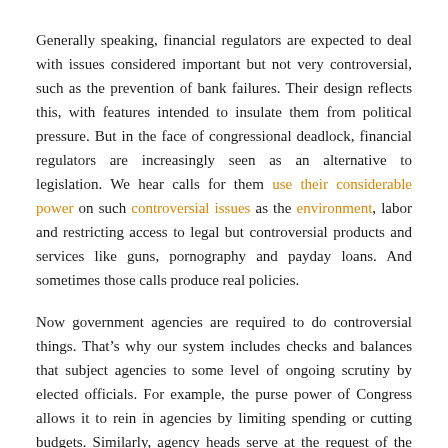Generally speaking, financial regulators are expected to deal with issues considered important but not very controversial, such as the prevention of bank failures. Their design reflects this, with features intended to insulate them from political pressure. But in the face of congressional deadlock, financial regulators are increasingly seen as an alternative to legislation. We hear calls for them use their considerable power on such controversial issues as the environment, labor and restricting access to legal but controversial products and services like guns, pornography and payday loans. And sometimes those calls produce real policies.
Now government agencies are required to do controversial things. That’s why our system includes checks and balances that subject agencies to some level of ongoing scrutiny by elected officials. For example, the purse power of Congress allows it to rein in agencies by limiting spending or cutting budgets. Similarly, agency heads serve at the request of the president, allowing new administrations (or administrations experiencing political heat) to replace them. Limits on how long an “acting” leader can lead an agency prevent a president from completely circumventing the confirmation authority of the Senate.